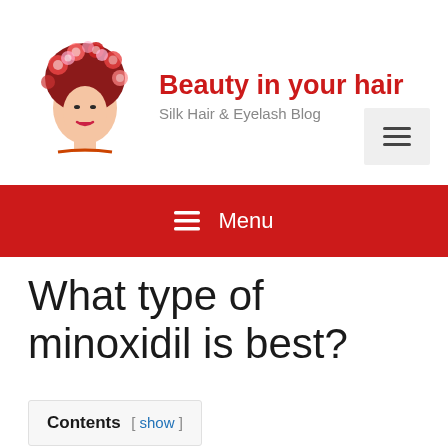[Figure (logo): Woman with flowers in hair illustration - Beauty in your hair blog logo]
Beauty in your hair
Silk Hair & Eyelash Blog
[Figure (illustration): Hamburger menu button icon with three horizontal lines]
≡ Menu
What type of minoxidil is best?
Contents [ show ]